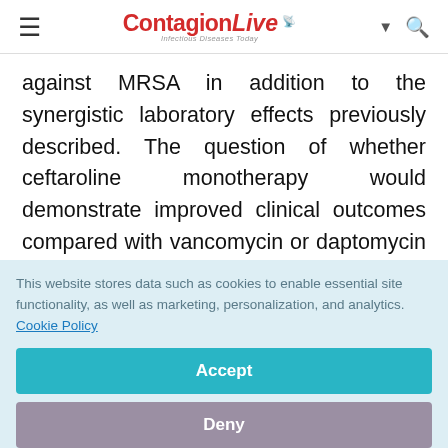ContagionLive — Infectious Diseases Today
against MRSA in addition to the synergistic laboratory effects previously described. The question of whether ceftaroline monotherapy would demonstrate improved clinical outcomes compared with vancomycin or daptomycin monotherapy or combination regimens remains unanswered. Patients are more likely to benefit
This website stores data such as cookies to enable essential site functionality, as well as marketing, personalization, and analytics. Cookie Policy
Accept
Deny